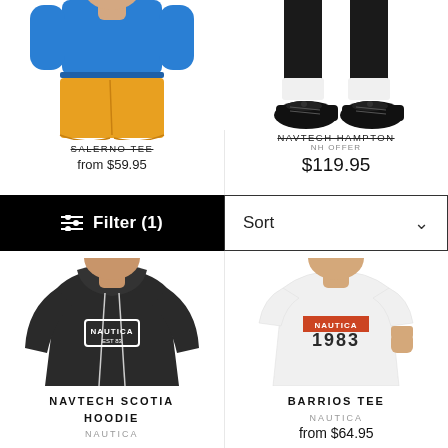[Figure (photo): Cropped photo of a model wearing a blue t-shirt and orange/yellow shorts, showing torso and upper legs. Product name SALERNO TEE partially visible with strikethrough text. Price 'from $59.95'.]
[Figure (photo): Cropped photo of a model's lower legs wearing black dress shoes with white socks. Product name NAVTECH HAMPTON partially visible. Sub-label partially visible. Price $119.95.]
Filter (1)
Sort
from $59.95
$119.95
[Figure (photo): Model wearing a black Nautica hoodie with NAUTICA box logo on the chest, standing against white background.]
NAVTECH SCOTIA HOODIE
NAUTICA
[Figure (photo): Model wearing a white t-shirt with Nautica 1983 graphic, standing against white background.]
BARRIOS TEE
NAUTICA
from $64.95